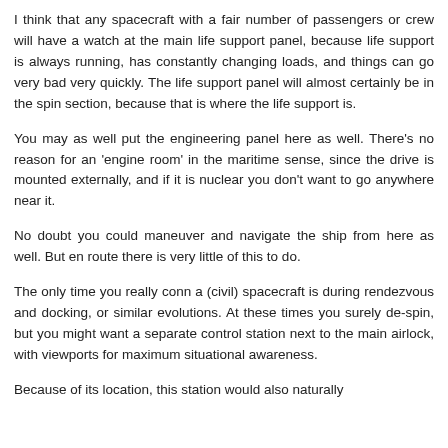I think that any spacecraft with a fair number of passengers or crew will have a watch at the main life support panel, because life support is always running, has constantly changing loads, and things can go very bad very quickly. The life support panel will almost certainly be in the spin section, because that is where the life support is.
You may as well put the engineering panel here as well. There's no reason for an 'engine room' in the maritime sense, since the drive is mounted externally, and if it is nuclear you don't want to go anywhere near it.
No doubt you could maneuver and navigate the ship from here as well. But en route there is very little of this to do.
The only time you really conn a (civil) spacecraft is during rendezvous and docking, or similar evolutions. At these times you surely de-spin, but you might want a separate control station next to the main airlock, with viewports for maximum situational awareness.
Because of its location, this station would also naturally